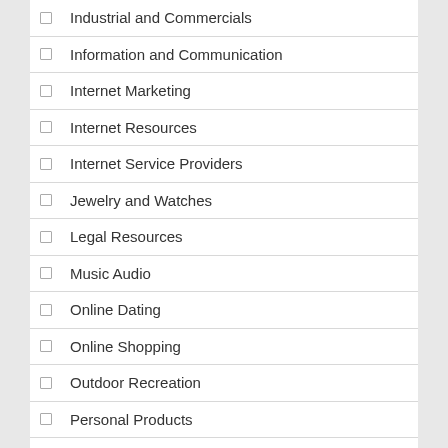Industrial and Commercials
Information and Communication
Internet Marketing
Internet Resources
Internet Service Providers
Jewelry and Watches
Legal Resources
Music Audio
Online Dating
Online Shopping
Outdoor Recreation
Personal Products
Pets Animals
Photography
Prescription Drugs